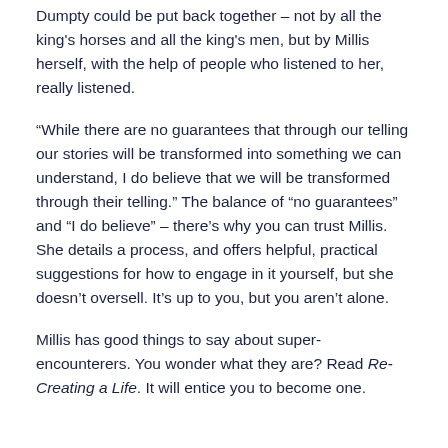Dumpty could be put back together – not by all the king's horses and all the king's men, but by Millis herself, with the help of people who listened to her, really listened.
“While there are no guarantees that through our telling our stories will be transformed into something we can understand, I do believe that we will be transformed through their telling.” The balance of “no guarantees” and “I do believe” – there’s why you can trust Millis. She details a process, and offers helpful, practical suggestions for how to engage in it yourself, but she doesn’t oversell. It’s up to you, but you aren’t alone.
Millis has good things to say about super-encounterers. You wonder what they are? Read Re-Creating a Life. It will entice you to become one.